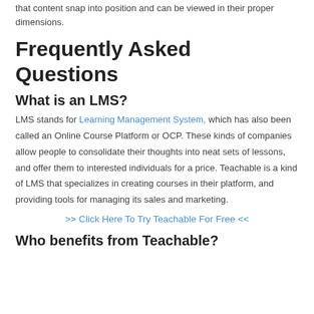that content snap into position and can be viewed in their proper dimensions.
Frequently Asked Questions
What is an LMS?
LMS stands for Learning Management System, which has also been called an Online Course Platform or OCP. These kinds of companies allow people to consolidate their thoughts into neat sets of lessons, and offer them to interested individuals for a price. Teachable is a kind of LMS that specializes in creating courses in their platform, and providing tools for managing its sales and marketing.
>> Click Here To Try Teachable For Free <<
Who benefits from Teachable?